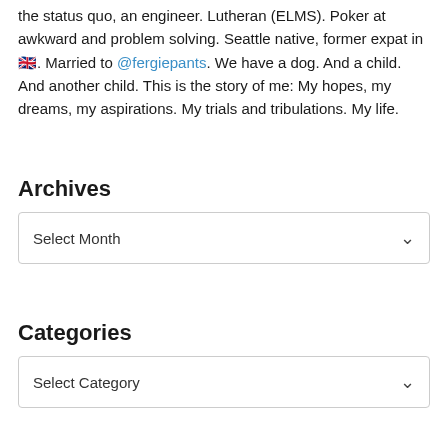the status quo, an engineer. Lutheran (ELMS). Poker at awkward and problem solving. Seattle native, former expat in 🇬🇧. Married to @fergiepants. We have a dog. And a child. And another child. This is the story of me: My hopes, my dreams, my aspirations. My trials and tribulations. My life.
Archives
Select Month
Categories
Select Category